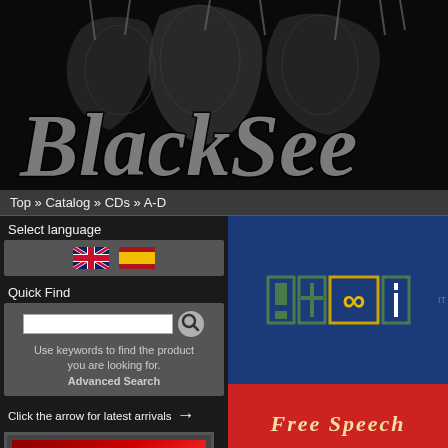[Figure (illustration): BlackSeed website header banner with dark fantasy figures and stylized gothic 'BlackSee' text logo on black background]
Top » Catalog » CDs » A-D
Select language
[Figure (illustration): Language selection flags: UK flag and Spanish flag]
Quick Find
Use keywords to find the product you are looking for. Advanced Search
Click the arrow for latest arrivals →
[Figure (photo): Small red thumbnail product image at bottom left]
[Figure (illustration): Product image: '!+∞i Free Speech' album cover with blue background, stylized logo and red/orange bottom banner with 'Free Speech' text]